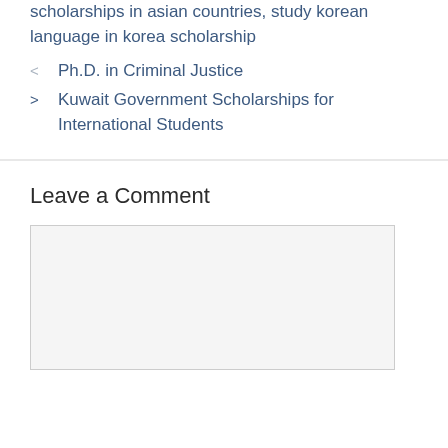scholarships in asian countries, study korean language in korea scholarship
Ph.D. in Criminal Justice
Kuwait Government Scholarships for International Students
Leave a Comment